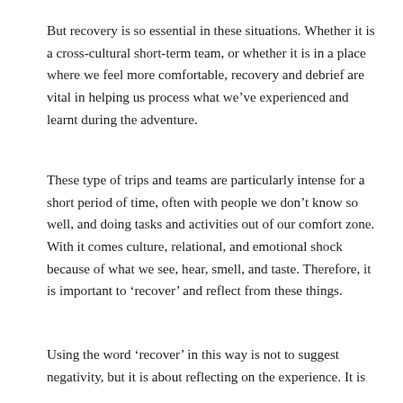But recovery is so essential in these situations. Whether it is a cross-cultural short-term team, or whether it is in a place where we feel more comfortable, recovery and debrief are vital in helping us process what we've experienced and learnt during the adventure.
These type of trips and teams are particularly intense for a short period of time, often with people we don't know so well, and doing tasks and activities out of our comfort zone. With it comes culture, relational, and emotional shock because of what we see, hear, smell, and taste. Therefore, it is important to 'recover' and reflect from these things.
Using the word 'recover' in this way is not to suggest negativity, but it is about reflecting on the experience. It is